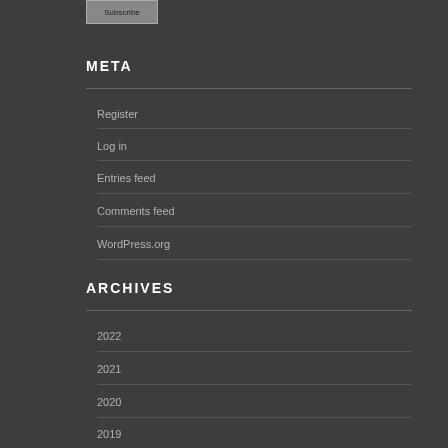META
Register
Log in
Entries feed
Comments feed
WordPress.org
ARCHIVES
2022
2021
2020
2019